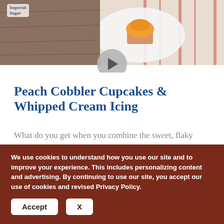[Figure (photo): Photo of a cupcake on a plate with a striped cloth, with a video play button overlay. Imperial Sugar logo in top-left corner.]
Peach Cobbler Cupcakes & Whipped Cream Icing
What do you get when you combine the sweet, flaky crust of a peach cobbler and the moist crumbly goodness of a cupcake? Peach cobbler cupcakes with...
1  14  54
We use cookies to understand how you use our site and to improve your experience. This includes personalizing content and advertising. By continuing to use our site, you accept our use of cookies and revised Privacy Policy.
Accept  X